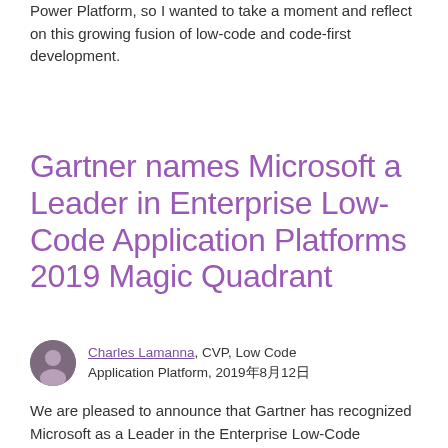Power Platform, so I wanted to take a moment and reflect on this growing fusion of low-code and code-first development.
Gartner names Microsoft a Leader in Enterprise Low-Code Application Platforms 2019 Magic Quadrant
Charles Lamanna, CVP, Low Code Application Platform, 2019年8月12日
We are pleased to announce that Gartner has recognized Microsoft as a Leader in the Enterprise Low-Code Application